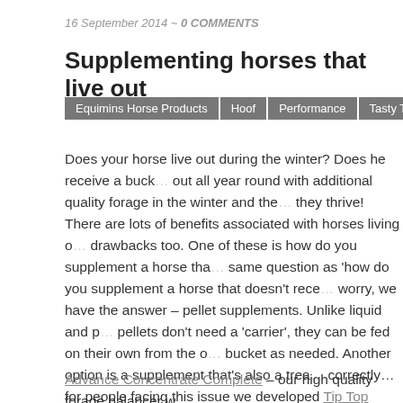16 September 2014 ~ 0 COMMENTS
Supplementing horses that live out
Equimins Horse Products
Hoof
Performance
Tasty Treats
Vitamins
Does your horse live out during the winter? Does he receive a bucket feed all year round with additional quality forage in the winter and the… they thrive! There are lots of benefits associated with horses living out, but there are drawbacks too. One of these is how do you supplement a horse that… same question as 'how do you supplement a horse that doesn't rece… worry, we have the answer – pellet supplements. Unlike liquid and p… pellets don't need a 'carrier', they can be fed on their own from the… bucket as needed. Another option is a supplement that's also a trea… correctly…for people facing this issue we developed Tip Top Supple… for the job.
In this blog, we have a look at our treat and pellet supplements, idea… hand…and also a great addition to a bucket of feed.
Advance Concentrate Complete – our high quality forage balancer w…